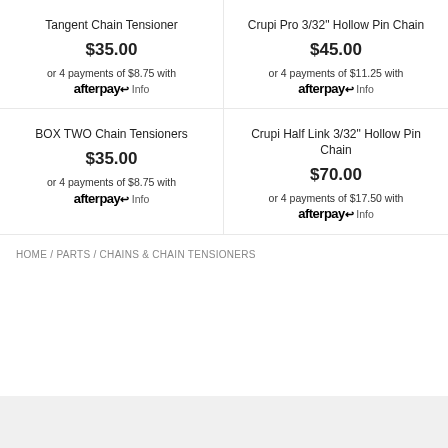Tangent Chain Tensioner
$35.00
or 4 payments of $8.75 with afterpay Info
Crupi Pro 3/32" Hollow Pin Chain
$45.00
or 4 payments of $11.25 with afterpay Info
BOX TWO Chain Tensioners
$35.00
or 4 payments of $8.75 with afterpay Info
Crupi Half Link 3/32" Hollow Pin Chain
$70.00
or 4 payments of $17.50 with afterpay Info
HOME / PARTS / CHAINS & CHAIN TENSIONERS